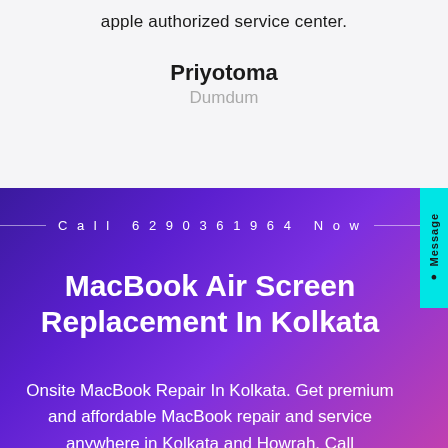apple authorized service center.
Priyotoma
Dumdum
Call 6290361964 Now
MacBook Air Screen Replacement In Kolkata
Onsite MacBook Repair In Kolkata. Get premium and affordable MacBook repair and service anywhere in Kolkata and Howrah. Call